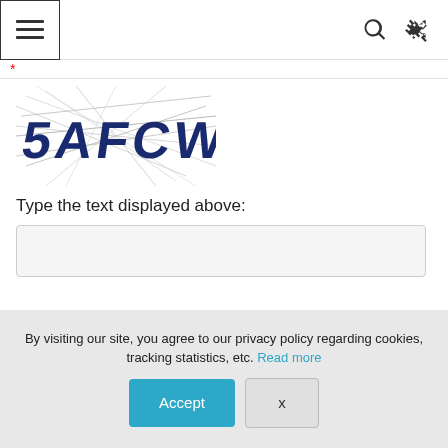[Figure (screenshot): Navigation bar with hamburger menu icon on left, search and shuffle icons on right]
[Figure (screenshot): CAPTCHA image showing distorted text '5AFCW' with crossing lines on white background]
Type the text displayed above:
[Figure (screenshot): Text input field for CAPTCHA entry]
[Figure (screenshot): Post Comment button in teal/blue color]
By visiting our site, you agree to our privacy policy regarding cookies, tracking statistics, etc. Read more